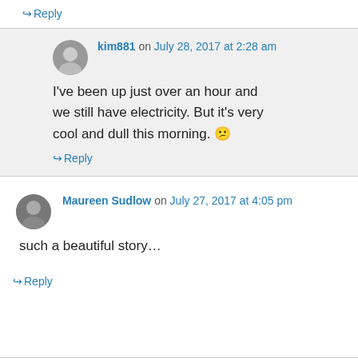↪ Reply
kim881 on July 28, 2017 at 2:28 am
I've been up just over an hour and we still have electricity. But it's very cool and dull this morning. 😐
↪ Reply
Maureen Sudlow on July 27, 2017 at 4:05 pm
such a beautiful story…
↪ Reply